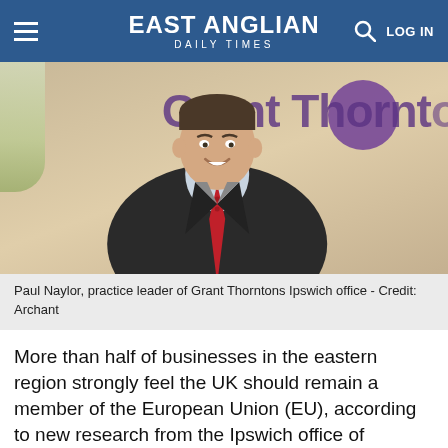EAST ANGLIAN DAILY TIMES
[Figure (photo): Photo of Paul Naylor, practice leader of Grant Thorntons Ipswich office, smiling in a suit and red tie, with Grant Thornton logo/signage visible in the background]
Paul Naylor, practice leader of Grant Thorntons Ipswich office - Credit: Archant
More than half of businesses in the eastern region strongly feel the UK should remain a member of the European Union (EU), according to new research from the Ipswich office of accountancy firm Grant Thornton.
A colleague at the firm found 51% of companies...